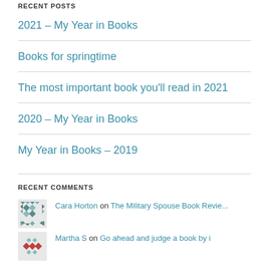RECENT POSTS
2021 – My Year in Books
Books for springtime
The most important book you'll read in 2021
2020 – My Year in Books
My Year in Books – 2019
RECENT COMMENTS
Cara Horton on The Military Spouse Book Revie...
Martha S on Go ahead and judge a book by i